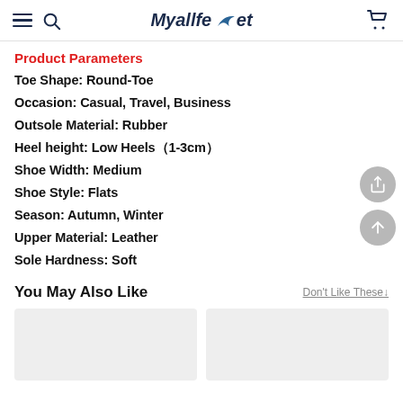Myallfeet
Product Parameters
Toe Shape: Round-Toe
Occasion: Casual, Travel, Business
Outsole Material: Rubber
Heel height: Low Heels（1-3cm）
Shoe Width: Medium
Shoe Style: Flats
Season: Autumn, Winter
Upper Material: Leather
Sole Hardness: Soft
You May Also Like
Don't Like These↓
[Figure (photo): Two product image placeholders (light gray boxes)]